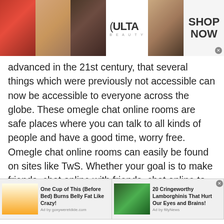[Figure (photo): Top banner advertisement for Ulta Beauty showing makeup product photos: lips with red lipstick, makeup brush, eye with dramatic makeup, Ulta Beauty logo in white box, close-up of eyes, and 'SHOP NOW' call to action button]
advanced in the 21st century, that several things which were previously not accessible can now be accessible to everyone across the globe. These omegle chat online rooms are safe places where you can talk to all kinds of people and have a good time, worry free. Omegle chat online rooms can easily be found on sites like TwS. Whether your goal is to make friends, chat online with friends, chat online to find a date, and even just to random chat online without any strings attached, Trinidadian Omegle Online text chat will have you covered. People all
[Figure (photo): Bottom advertisement bar with two ads: left ad shows a person drinking with headline 'One Cup of This (Before Bed) Burns Belly Fat Like Crazy!' by goxyweretdide.com; right ad shows a green Lamborghini with headline '20 Cringeworthy Lamborghinis That Hurt Our Eyes and Brains!' by fillyNews]